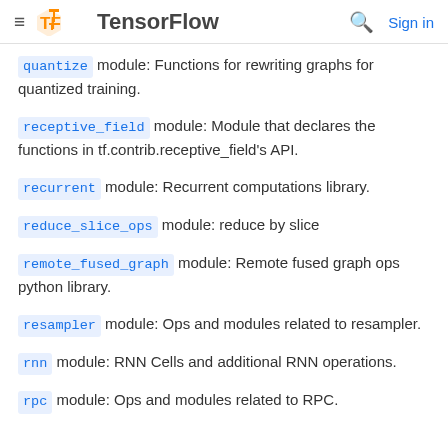TensorFlow
quantize module: Functions for rewriting graphs for quantized training.
receptive_field module: Module that declares the functions in tf.contrib.receptive_field's API.
recurrent module: Recurrent computations library.
reduce_slice_ops module: reduce by slice
remote_fused_graph module: Remote fused graph ops python library.
resampler module: Ops and modules related to resampler.
rnn module: RNN Cells and additional RNN operations.
rpc module: Ops and modules related to RPC.